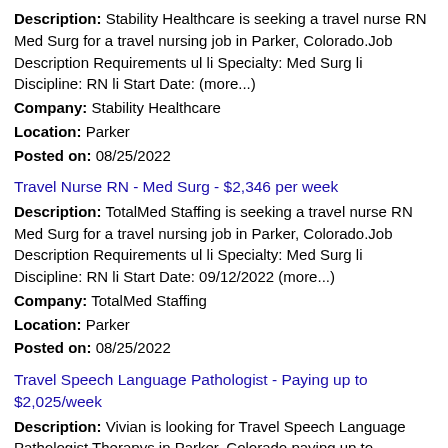Description: Stability Healthcare is seeking a travel nurse RN Med Surg for a travel nursing job in Parker, Colorado.Job Description Requirements ul li Specialty: Med Surg li Discipline: RN li Start Date: (more...) Company: Stability Healthcare Location: Parker Posted on: 08/25/2022
Travel Nurse RN - Med Surg - $2,346 per week
Description: TotalMed Staffing is seeking a travel nurse RN Med Surg for a travel nursing job in Parker, Colorado.Job Description Requirements ul li Specialty: Med Surg li Discipline: RN li Start Date: 09/12/2022 (more...) Company: TotalMed Staffing Location: Parker Posted on: 08/25/2022
Travel Speech Language Pathologist - Paying up to $2,025/week
Description: Vivian is looking for Travel Speech Language Pathologist Therapys in Parker, Colorado paying up to 2,025/week br br br At Vivian, we ensure your next step is Company: Vivian Health Location: Parker